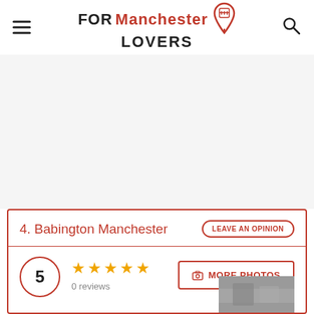FOR Manchester LOVERS
4. Babington Manchester
LEAVE AN OPINION
5 ★★★★★ 0 reviews
MORE PHOTOS